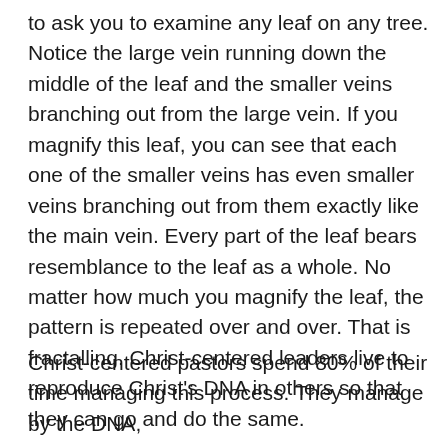to ask you to examine any leaf on any tree. Notice the large vein running down the middle of the leaf and the smaller veins branching out from the large vein. If you magnify this leaf, you can see that each one of the smaller veins has even smaller veins branching out from them exactly like the main vein. Every part of the leaf bears resemblance to the leaf as a whole. No matter how much you magnify the leaf, the pattern is repeated over and over. That is fractalling. Christ-centered leaders live to reproduce Christ's DNA in others so that they can go and do the same.
Christ-centered pastors spend 80% of their time managing this process. They manage by the DNA, not by disciplines or admonishments. They...